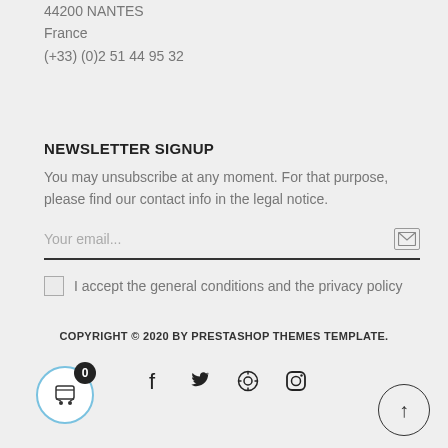44200 NANTES
France
(+33) (0)2 51 44 95 32
NEWSLETTER SIGNUP
You may unsubscribe at any moment. For that purpose, please find our contact info in the legal notice.
Your email...
I accept the general conditions and the privacy policy
COPYRIGHT © 2020 BY PRESTASHOP THEMES TEMPLATE.